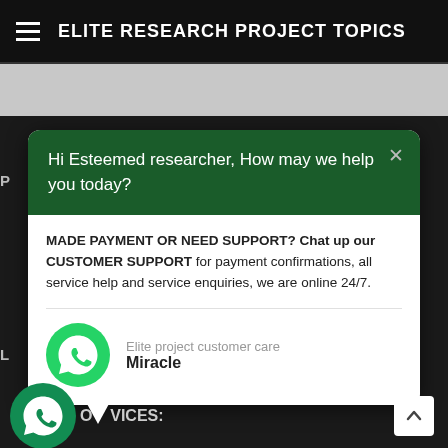ELITE RESEARCH PROJECT TOPICS
[Figure (screenshot): WhatsApp chat support popup widget on a dark website background. Green header with text 'Hi Esteemed researcher, How may we help you today?', white body with support message and agent named Miracle. WhatsApp floating button at bottom left.]
MADE PAYMENT OR NEED SUPPORT? Chat up our CUSTOMER SUPPORT for payment confirmations, all service help and service enquiries, we are online 24/7.
Elite project customer care
Miracle
OUR SERVICES: